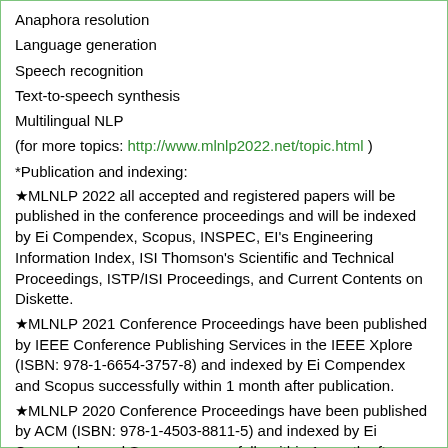Anaphora resolution
Language generation
Speech recognition
Text-to-speech synthesis
Multilingual NLP
(for more topics: http://www.mlnlp2022.net/topic.html )
*Publication and indexing:
★MLNLP 2022 all accepted and registered papers will be published in the conference proceedings and will be indexed by Ei Compendex, Scopus, INSPEC, EI's Engineering Information Index, ISI Thomson's Scientific and Technical Proceedings, ISTP/ISI Proceedings, and Current Contents on Diskette.
★MLNLP 2021 Conference Proceedings have been published by IEEE Conference Publishing Services in the IEEE Xplore (ISBN: 978-1-6654-3757-8) and indexed by Ei Compendex and Scopus successfully within 1 month after publication.
★MLNLP 2020 Conference Proceedings have been published by ACM (ISBN: 978-1-4503-8811-5) and indexed by Ei Compendex and Scopus successfully within 1 month after publication.